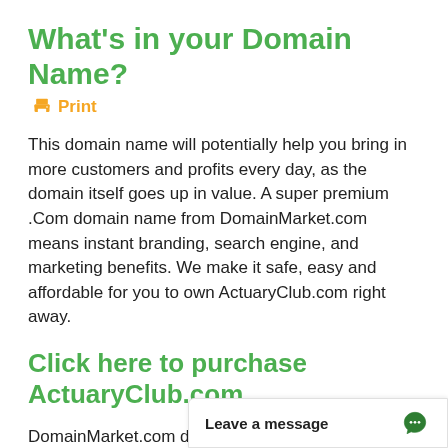What's in your Domain Name?
🖨 Print
This domain name will potentially help you bring in more customers and profits every day, as the domain itself goes up in value. A super premium .Com domain name from DomainMarket.com means instant branding, search engine, and marketing benefits. We make it safe, easy and affordable for you to own ActuaryClub.com right away.
Click here to purchase ActuaryClub.com
DomainMarket.com domains are carefully selected for branding excellence by the world's top domain name appraisers, so y...
Leave a message